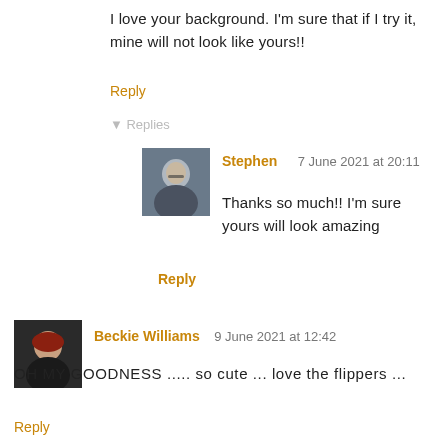I love your background. I'm sure that if I try it, mine will not look like yours!!
Reply
▾ Replies
[Figure (photo): Avatar photo of Stephen, a man wearing glasses]
Stephen   7 June 2021 at 20:11
Thanks so much!! I'm sure yours will look amazing
Reply
[Figure (photo): Avatar photo of Beckie Williams, a woman with red hair]
Beckie Williams  9 June 2021 at 12:42
OH MY GOODNESS ..... so cute ... love the flippers ...
Reply